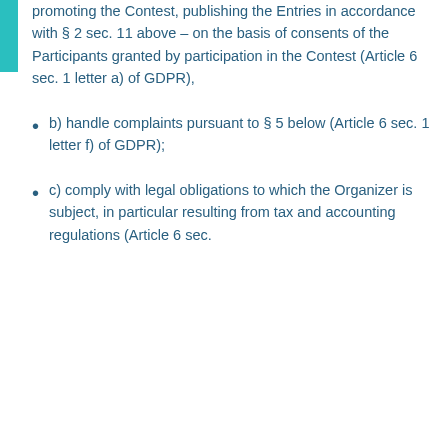promoting the Contest, publishing the Entries in accordance with § 2 sec. 11 above – on the basis of consents of the Participants granted by participation in the Contest (Article 6 sec. 1 letter a) of GDPR),
b) handle complaints pursuant to § 5 below (Article 6 sec. 1 letter f) of GDPR);
c) comply with legal obligations to which the Organizer is subject, in particular resulting from tax and accounting regulations (Article 6 sec.